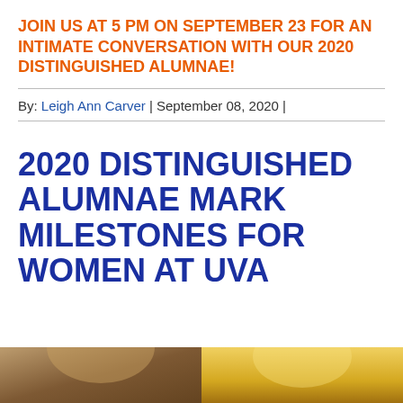JOIN US AT 5 PM ON SEPTEMBER 23 FOR AN INTIMATE CONVERSATION WITH OUR 2020 DISTINGUISHED ALUMNAE!
By: Leigh Ann Carver | September 08, 2020 |
2020 DISTINGUISHED ALUMNAE MARK MILESTONES FOR WOMEN AT UVA
[Figure (photo): Two partial photos of people at the bottom of the page, left photo shows a person with warm brown tones, right photo shows a person with golden/yellow tones]